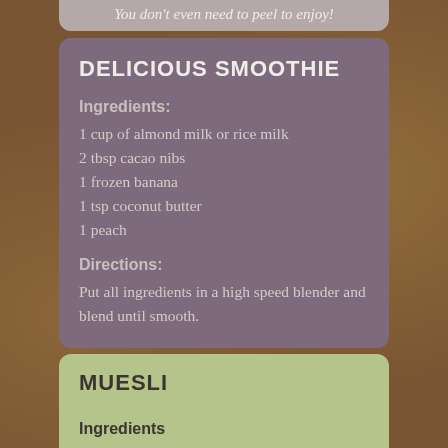You don't even need to peel to enjoy!
DELICIOUS SMOOTHIE
Ingredients:
1 cup of almond milk or rice milk
2 tbsp cacao nibs
1 frozen banana
1 tsp coconut butter
1 peach
Directions:
Put all ingredients in a high speed blender and blend until smooth.
MUESLI
Ingredients
4 1/2 cups rolled oats
1/2 cup toasted wheat germ
1/2 cup wheat bran
1/2 cup oat bran